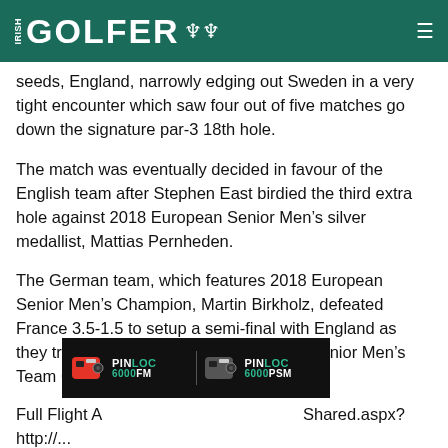IRISH GOLFER
seeds, England, narrowly edging out Sweden in a very tight encounter which saw four out of five matches go down the signature par-3 18th hole.
The match was eventually decided in favour of the English team after Stephen East birdied the third extra hole against 2018 European Senior Men's silver medallist, Mattias Pernheden.
The German team, which features 2018 European Senior Men's Champion, Martin Birkholz, defeated France 3.5-1.5 to setup a semi-final with England as they try to reach their second European Senior Men's Team Championship final in three years.
Full Flight A … Shared.aspx?
http://...
[Figure (photo): PINLOC 6000FM and PINLOC 6000PSM rangefinder advertisement banner]